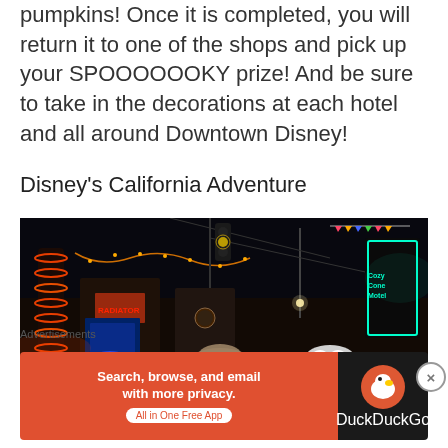pumpkins! Once it is completed, you will return it to one of the shops and pick up your SPOOOOOOKY prize! And be sure to take in the decorations at each hotel and all around Downtown Disney!
Disney's California Adventure
[Figure (photo): Night-time photo of Cars Land at Disney's California Adventure, showing illuminated characters, colorful neon signs, string lights, and a tall tower with orange lights against a dark sky.]
Advertisements
[Figure (screenshot): DuckDuckGo advertisement banner: 'Search, browse, and email with more privacy. All in One Free App' with DuckDuckGo logo on dark background.]